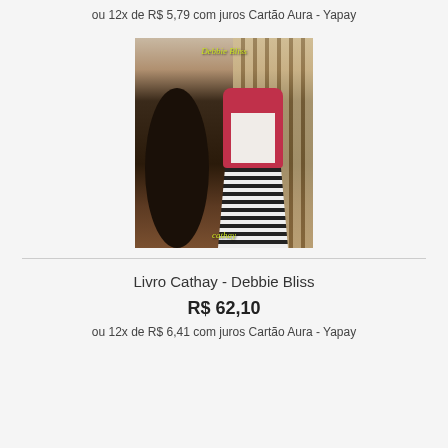ou 12x de R$ 5,79 com juros Cartão Aura - Yapay
[Figure (photo): Book cover of Livro Cathay by Debbie Bliss, showing two women, one in a pink jacket and white top with a patterned skirt, the other a silhouette. Text 'Debbie Bliss' in yellow-green at top and 'cathay' at bottom.]
Livro Cathay - Debbie Bliss
R$ 62,10
ou 12x de R$ 6,41 com juros Cartão Aura - Yapay